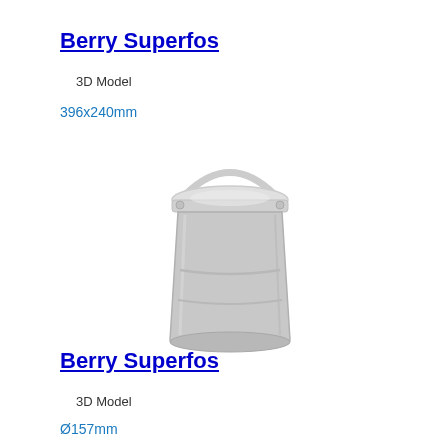Berry Superfos
3D Model
396x240mm
[Figure (illustration): 3D rendered illustration of a white/grey plastic bucket with a handle, viewed from a slight angle. The bucket is cylindrical with a slightly tapered body and a lid with a handle arc above it.]
Berry Superfos
3D Model
Ø157mm